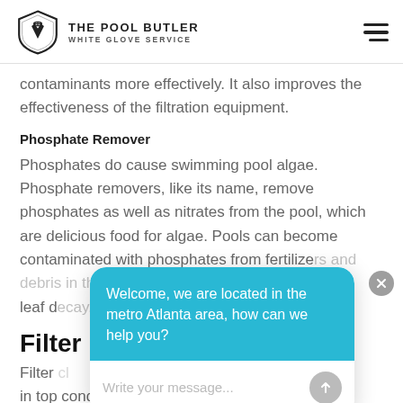THE POOL BUTLER WHITE GLOVE SERVICE
contaminants more effectively. It also improves the effectiveness of the filtration equipment.
Phosphate Remover
Phosphates do cause swimming pool algae. Phosphate removers, like its name, remove phosphates as well as nitrates from the pool, which are delicious food for algae. Pools can become contaminated with phosphates from fertilize... leaf d...
Filter
Filter ... in top condition, ejecting oils, minerals, and
[Figure (screenshot): Chat widget overlay with teal bubble: 'Welcome, we are located in the metro Atlanta area, how can we help you?' and input field 'Write your message...' with send button.]